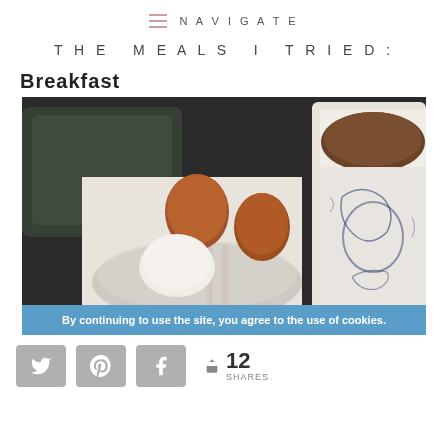NAVIGATE
THE MEALS I TRIED:
Breakfast
[Figure (photo): Photo of a breakfast tray showing three brown/white eggs on a napkin with a bowl, and a blue and white decorative mug filled with coffee or tea]
By continuing to use the site, you agree to the use of cookies.
12 SHARES